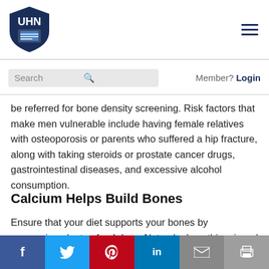UHN logo and navigation
Search    Member? Login
be referred for bone density screening. Risk factors that make men vulnerable include having female relatives with osteoporosis or parents who suffered a hip fracture, along with taking steroids or prostate cancer drugs, gastrointestinal diseases, and excessive alcohol consumption.
Calcium Helps Build Bones
Ensure that your diet supports your bones by consuming plenty of calcium. Not only does this mineral help build bones, it also helps the heart,
Social share bar: Facebook, Twitter, Pinterest, LinkedIn, Email, Print